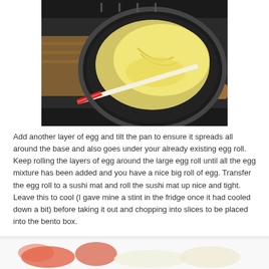[Figure (photo): A black frying pan on a stove with a thin egg crepe/omelette being cooked. A chopstick or wooden implement is being used to roll the egg. The egg is pale yellow and partially rolled.]
Add another layer of egg and tilt the pan to ensure it spreads all around the base and also goes under your already existing egg roll. Keep rolling the layers of egg around the large egg roll until all the egg mixture has been added and you have a nice big roll of egg. Transfer the egg roll to a sushi mat and roll the sushi mat up nice and tight. Leave this to cool (I gave mine a stint in the fridge once it had cooled down a bit) before taking it out and chopping into slices to be placed into the bento box.
[Figure (photo): Partial view of a white plate or bowl with what appears to be food items, possibly the finished egg roll slices in a bento box context.]